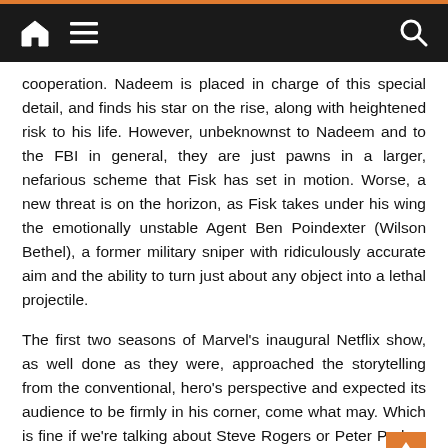Navigation bar with home, menu, and search icons
cooperation. Nadeem is placed in charge of this special detail, and finds his star on the rise, along with heightened risk to his life. However, unbeknownst to Nadeem and to the FBI in general, they are just pawns in a larger, nefarious scheme that Fisk has set in motion. Worse, a new threat is on the horizon, as Fisk takes under his wing the emotionally unstable Agent Ben Poindexter (Wilson Bethel), a former military sniper with ridiculously accurate aim and the ability to turn just about any object into a lethal projectile.
The first two seasons of Marvel's inaugural Netflix show, as well done as they were, approached the storytelling from the conventional, hero's perspective and expected its audience to be firmly in his corner, come what may. Which is fine if we're talking about Steve Rogers or Peter Parker. But a chief takeaway